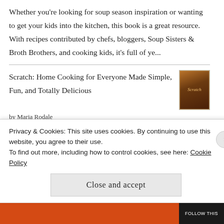Whether you're looking for soup season inspiration or wanting to get your kids into the kitchen, this book is a great resource. With recipes contributed by chefs, bloggers, Soup Sisters & Broth Brothers, and cooking kids, it's full of ye...
Scratch: Home Cooking for Everyone Made Simple, Fun, and Totally Delicious
[Figure (photo): Book cover for 'Scratch' by Maria Rodale — dark brown/amber toned cover with golden script text]
by Maria Rodale
Whether you're a novice cook or a busy working
Privacy & Cookies: This site uses cookies. By continuing to use this website, you agree to their use.
To find out more, including how to control cookies, see here: Cookie Policy
Close and accept